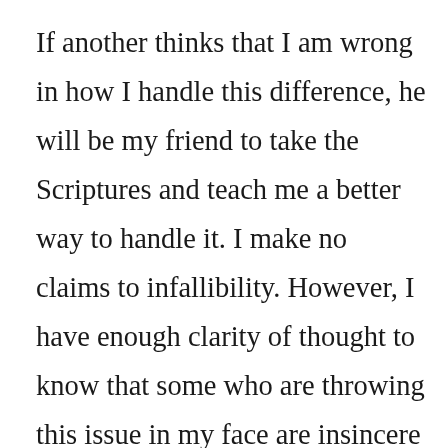If another thinks that I am wrong in how I handle this difference, he will be my friend to take the Scriptures and teach me a better way to handle it. I make no claims to infallibility. However, I have enough clarity of thought to know that some who are throwing this issue in my face are insincere in so doing. I ask them, “Are you saying that we should draw a line of fellowship between those of us who disagree on some matter about which brother Halbrook and I disagree or brother King and I